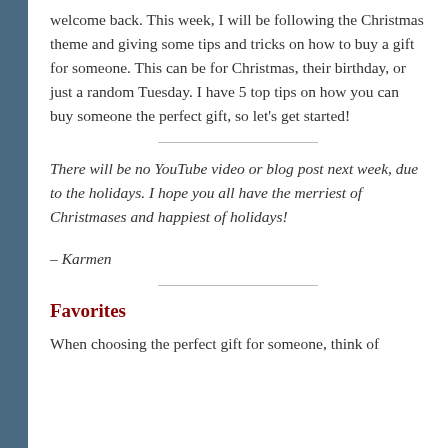welcome back. This week, I will be following the Christmas theme and giving some tips and tricks on how to buy a gift for someone. This can be for Christmas, their birthday, or just a random Tuesday. I have 5 top tips on how you can buy someone the perfect gift, so let's get started!
There will be no YouTube video or blog post next week, due to the holidays. I hope you all have the merriest of Christmases and happiest of holidays!
– Karmen
Favorites
When choosing the perfect gift for someone, think of